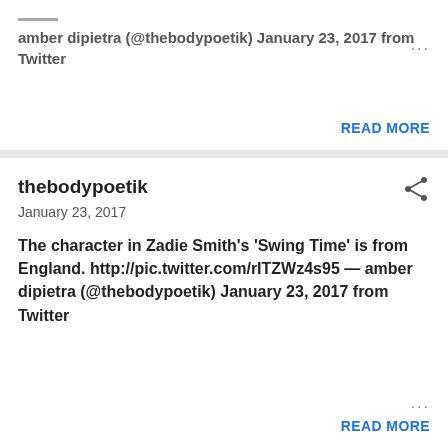amber dipietra (@thebodypoetik) January 23, 2017 from Twitter
READ MORE
thebodypoetik
January 23, 2017
The character in Zadie Smith's 'Swing Time' is from England. http://pic.twitter.com/rITZWz4s95 — amber dipietra (@thebodypoetik) January 23, 2017 from Twitter
READ MORE